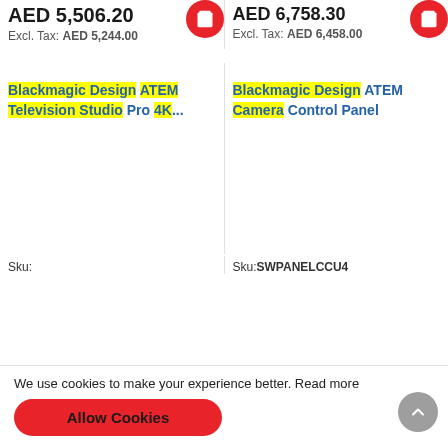AED 5,506.20
Excl. Tax: AED 5,244.00
AED 6,758.30
Excl. Tax: AED 6,458.00
Blackmagic Design ATEM Television Studio Pro 4K...
Blackmagic Design ATEM Camera Control Panel
Sku:
Sku:SWPANELCCU4
We use cookies to make your experience better. Read more
Allow Cookies